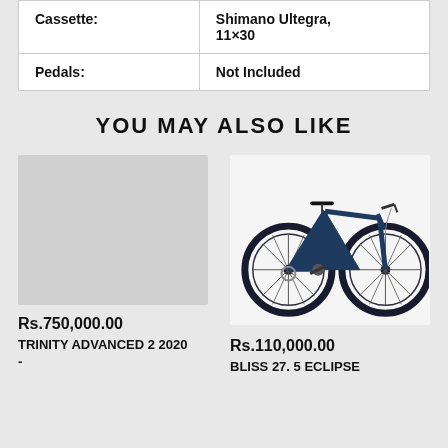|  |  |
| --- | --- |
| Cassette: | Shimano Ultegra, 11×30 |
| Pedals: | Not Included |
YOU MAY ALSO LIKE
[Figure (photo): Empty placeholder image (grey rectangle) for Trinity Advanced 2 2020 bike product]
Rs.750,000.00
TRINITY ADVANCED 2 2020 -
[Figure (photo): Photo of a navy blue mountain bike (Bliss 27.5 Eclipse) on white background]
Rs.110,000.00
BLISS 27. 5 Eclipse